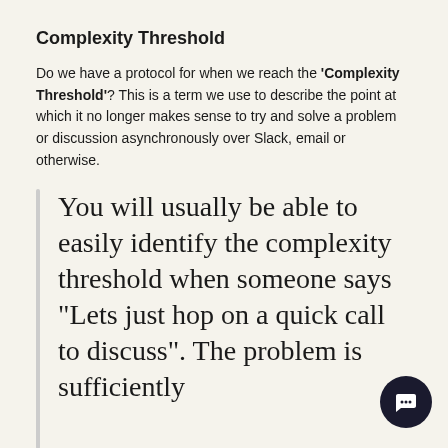Complexity Threshold
Do we have a protocol for when we reach the 'Complexity Threshold'? This is a term we use to describe the point at which it no longer makes sense to try and solve a problem or discussion asynchronously over Slack, email or otherwise.
You will usually be able to easily identify the complexity threshold when someone says "Lets just hop on a quick call to discuss". The problem is sufficiently